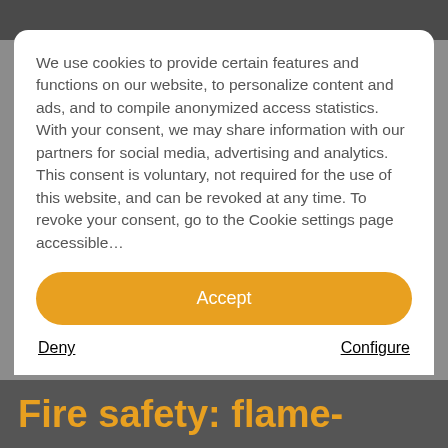We use cookies to provide certain features and functions on our website, to personalize content and ads, and to compile anonymized access statistics. With your consent, we may share information with our partners for social media, advertising and analytics. This consent is voluntary, not required for the use of this website, and can be revoked at any time. To revoke your consent, go to the Cookie settings page accessible…
Accept
Deny
Configure
Fire safety: flame-